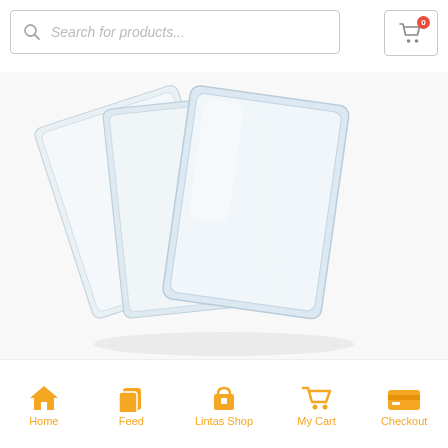[Figure (screenshot): E-commerce mobile app screenshot showing a search bar at top, product image of clear plastic card sleeves/covers in the middle, and a bottom navigation bar with Home, Feed, Lintas Shop, My Cart, and Checkout icons in yellow/orange color]
Search for products...
[Figure (photo): Three transparent/clear plastic card sleeves or book covers fanned out on a white background]
Home
Feed
Lintas Shop
My Cart
Checkout